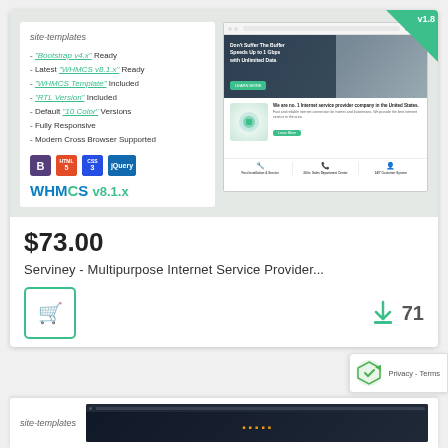[Figure (screenshot): Product listing card for Serviney - Multipurpose Internet Service Provider template showing site-templates label, feature list with Bootstrap v4.x, WHMCS v8.1.x, WHMCS Template, RTL Version, 10 Color, Fully Responsive, Modern Cross Browser Supported, tech icons (Bootstrap, HTML5, CSS3, jQuery), WHMCS v8.1.x badge, and right-side browser screenshot mockup with v1.8 badge]
$73.00
Serviney - Multipurpose Internet Service Provider...
[Figure (screenshot): Partial bottom card with site-templates label and another template screenshot preview]
Privacy - Terms